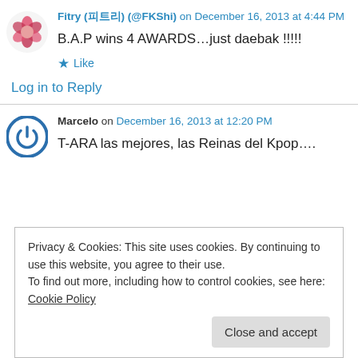Fitry (피트리) (@FKShi) on December 16, 2013 at 4:44 PM
B.A.P wins 4 AWARDS…just daebak !!!!!
Like
Log in to Reply
Marcelo on December 16, 2013 at 12:20 PM
T-ARA las mejores, las Reinas del Kpop….
Privacy & Cookies: This site uses cookies. By continuing to use this website, you agree to their use.
To find out more, including how to control cookies, see here: Cookie Policy
Close and accept